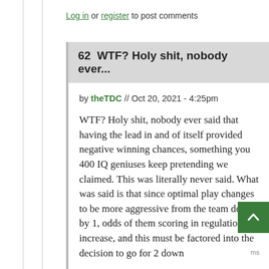Log in or register to post comments
62  WTF? Holy shit, nobody ever...
by theTDC // Oct 20, 2021 - 4:25pm
WTF? Holy shit, nobody ever said that having the lead in and of itself provided negative winning chances, something you 400 IQ geniuses keep pretending we claimed. This was literally never said. What was said is that since optimal play changes to be more aggressive from the team down by 1, odds of them scoring in regulation increase, and this must be factored into the decision to go for 2 down